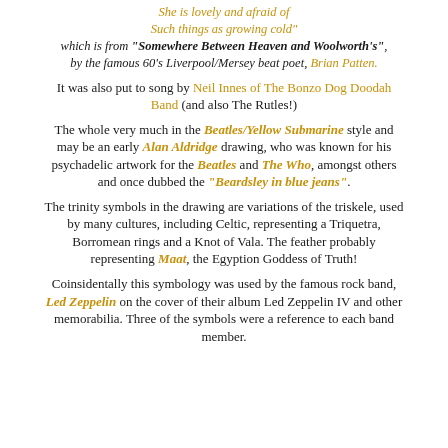She is lovely and afraid of Such things as growing cold" which is from "Somewhere Between Heaven and Woolworth's", by the famous 60's Liverpool/Mersey beat poet, Brian Patten.
It was also put to song by Neil Innes of The Bonzo Dog Doodah Band (and also The Rutles!)
The whole very much in the Beatles/Yellow Submarine style and may be an early Alan Aldridge drawing, who was known for his psychadelic artwork for the Beatles and The Who, amongst others and once dubbed the "Beardsley in blue jeans".
The trinity symbols in the drawing are variations of the triskele, used by many cultures, including Celtic, representing a Triquetra, Borromean rings and a Knot of Vala. The feather probably representing Maat, the Egyption Goddess of Truth!
Coinsidentally this symbology was used by the famous rock band, Led Zeppelin on the cover of their album Led Zeppelin IV and other memorabilia. Three of the symbols were a reference to each band member.